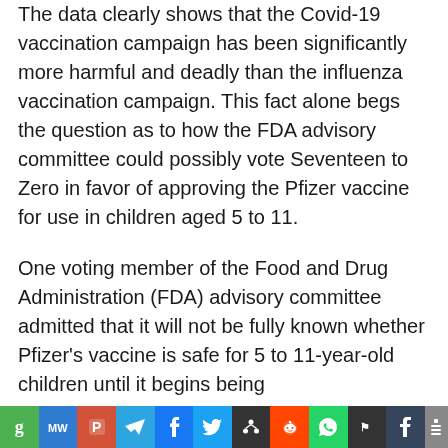The data clearly shows that the Covid-19 vaccination campaign has been significantly more harmful and deadly than the influenza vaccination campaign. This fact alone begs the question as to how the FDA advisory committee could possibly vote Seventeen to Zero in favor of approving the Pfizer vaccine for use in children aged 5 to 11.
One voting member of the Food and Drug Administration (FDA) advisory committee admitted that it will not be fully known whether Pfizer's vaccine is safe for 5 to 11-year-old children until it begins being...